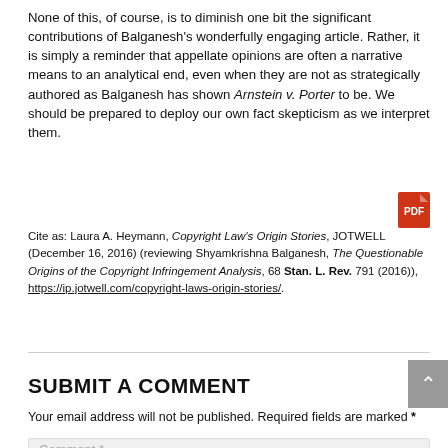None of this, of course, is to diminish one bit the significant contributions of Balganesh's wonderfully engaging article. Rather, it is simply a reminder that appellate opinions are often a narrative means to an analytical end, even when they are not as strategically authored as Balganesh has shown Arnstein v. Porter to be. We should be prepared to deploy our own fact skepticism as we interpret them.
Cite as: Laura A. Heymann, Copyright Law's Origin Stories, JOTWELL (December 16, 2016) (reviewing Shyamkrishna Balganesh, The Questionable Origins of the Copyright Infringement Analysis, 68 Stan. L. Rev. 791 (2016)), https://ip.jotwell.com/copyright-laws-origin-stories/.
SUBMIT A COMMENT
Your email address will not be published. Required fields are marked *